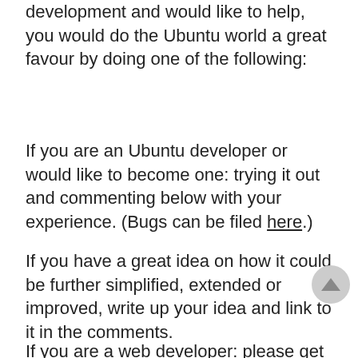development and would like to help, you would do the Ubuntu world a great favour by doing one of the following:
If you are an Ubuntu developer or would like to become one: trying it out and commenting below with your experience. (Bugs can be filed here.)
If you have a great idea on how it could be further simplified, extended or improved, write up your idea and link to it in the comments.
If you are a web developer: please get in touch. Harvest is written using Django and Python and it's super-easy to extend, improve and fix it - so if you are looking for something to help out with, this might be a great opportunity for you.